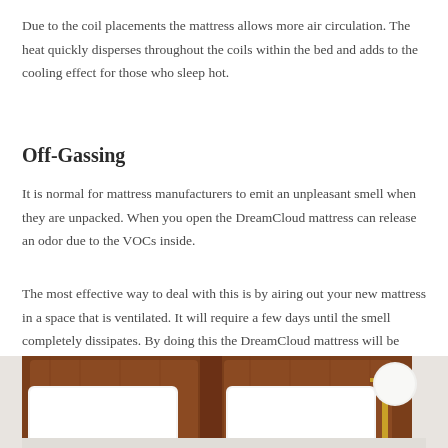Due to the coil placements the mattress allows more air circulation. The heat quickly disperses throughout the coils within the bed and adds to the cooling effect for those who sleep hot.
Off-Gassing
It is normal for mattress manufacturers to emit an unpleasant smell when they are unpacked. When you open the DreamCloud mattress can release an odor due to the VOCs inside.
The most effective way to deal with this is by airing out your new mattress in a space that is ventilated. It will require a few days until the smell completely dissipates. By doing this the DreamCloud mattress will be odor-free and you can sleep comfortably.
[Figure (photo): Photo of a bed with white pillows against a wooden headboard, with a gold floor lamp visible on the right side.]